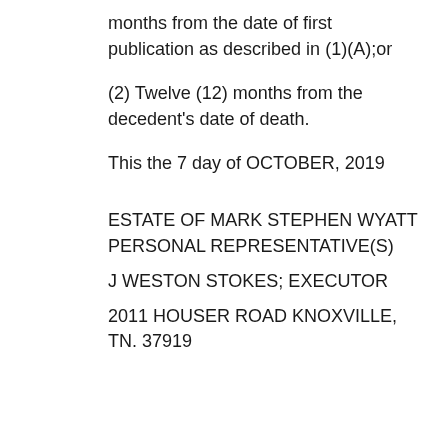months from the date of first publication as described in (1)(A);or
(2) Twelve (12) months from the decedent’s date of death.
This the 7 day of OCTOBER, 2019
ESTATE OF MARK STEPHEN WYATT PERSONAL REPRESENTATIVE(S)
J WESTON STOKES; EXECUTOR
2011 HOUSER ROAD KNOXVILLE, TN. 37919